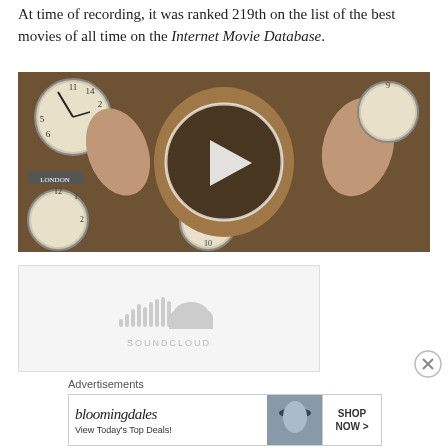At time of recording, it was ranked 219th on the list of the best movies of all time on the Internet Movie Database.
[Figure (photo): A video thumbnail showing a man with an open-mouthed shocked expression, hands raised with claw-like gestures, surrounded by clocks. A circular play button overlay is centered on the image.]
[Figure (other): SoundCloud embedded audio player box with SoundCloud logo (sound wave bars and cloud icon) and 'SOUNDCLOUD' text label, displayed in a light gray box.]
Advertisements
[Figure (other): Bloomingdale's advertisement banner reading 'bloomingdales View Today's Top Deals!' with an image of a woman in a hat and a 'SHOP NOW >' button.]